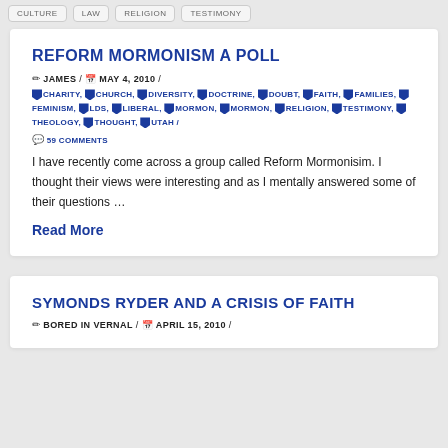CULTURE / LAW / RELIGION / TESTIMONY
REFORM MORMONISM A POLL
✏ JAMES / 📅 MAY 4, 2010 /
CHARITY, CHURCH, DIVERSITY, DOCTRINE, DOUBT, FAITH, FAMILIES, FEMINISM, LDS, LIBERAL, MORMON, MORMON, RELIGION, TESTIMONY, THEOLOGY, THOUGHT, UTAH /
💬 59 COMMENTS
I have recently come across a group called Reform Mormonisim. I thought their views were interesting and as I mentally answered some of their questions …
Read More
SYMONDS RYDER AND A CRISIS OF FAITH
✏ BORED IN VERNAL / 📅 APRIL 15, 2010 /